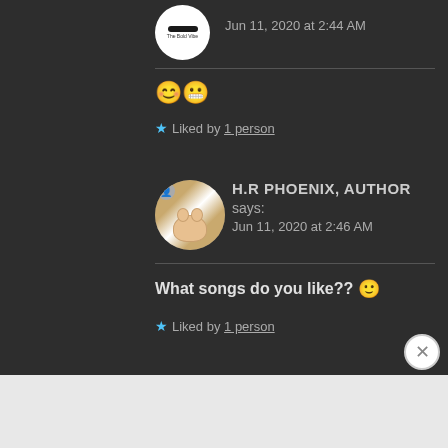Jun 11, 2020 at 2:44 AM
😊😬
★ Liked by 1 person
H.R PHOENIX, AUTHOR says: Jun 11, 2020 at 2:46 AM
What songs do you like?? 🙂
★ Liked by 1 person
Advertisements
[Figure (illustration): Day One journaling app advertisement banner with icons and text 'The only journaling app you'll ever need.']